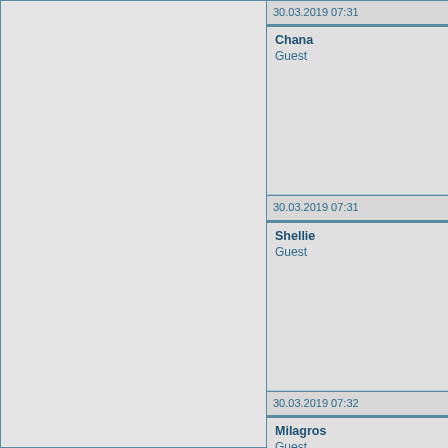30.03.2019 07:31
Chana
Guest
30.03.2019 07:31
Shellie
Guest
30.03.2019 07:32
Milagros
Guest
30.03.2019 07:32
Lynette
Guest